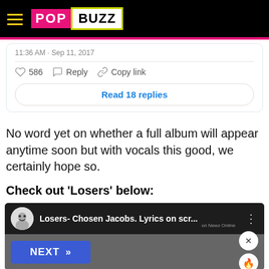POPBUZZ
11:36 AM - Sep 11, 2017
586  Reply  Copy link
Read 18 replies
No word yet on whether a full album will appear anytime soon but with vocals this good, we certainly hope so.
Check out 'Losers' below:
[Figure (screenshot): YouTube video thumbnail showing 'Losers- Chosen Jacobs. Lyrics on scr...' with a NEXT button overlay and side controls]